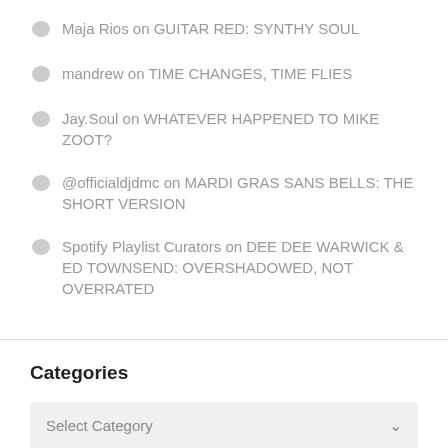Maja Rios on GUITAR RED: SYNTHY SOUL
mandrew on TIME CHANGES, TIME FLIES
Jay.Soul on WHATEVER HAPPENED TO MIKE ZOOT?
@officialdjdmc on MARDI GRAS SANS BELLS: THE SHORT VERSION
Spotify Playlist Curators on DEE DEE WARWICK & ED TOWNSEND: OVERSHADOWED, NOT OVERRATED
Categories
Select Category